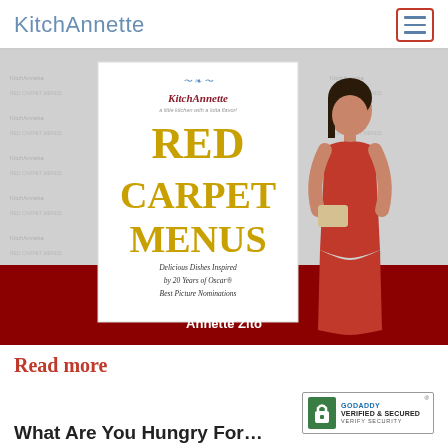KitchAnnette
[Figure (photo): Book cover for 'Red Carpet Menus' by Annette Zito published by KitchAnnette, showing a woman in a red dress on a red carpet backdrop. The book cover reads 'KitchAnnette - a little kitchen with a lotta flavor! RED CARPET MENUS - Delicious Dishes Inspired by 20 Years of Oscar® Best Picture Nominations - Annette Zito']
Read more
[Figure (logo): GoDaddy Verified & Secured badge with lock icon]
What Are You Hungry For?